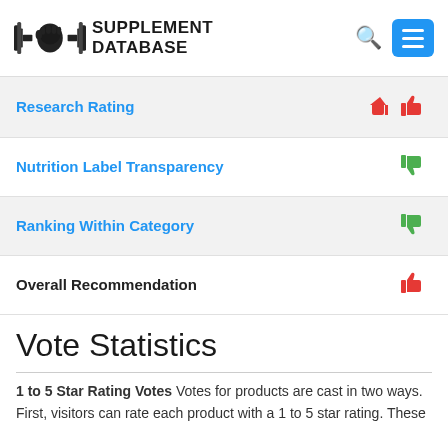SUPPLEMENT DATABASE
| Category | Rating |
| --- | --- |
| Research Rating | thumbs-down |
| Nutrition Label Transparency | thumbs-up |
| Ranking Within Category | thumbs-up |
| Overall Recommendation | thumbs-down |
Vote Statistics
1 to 5 Star Rating Votes Votes for products are cast in two ways. First, visitors can rate each product with a 1 to 5 star rating. These